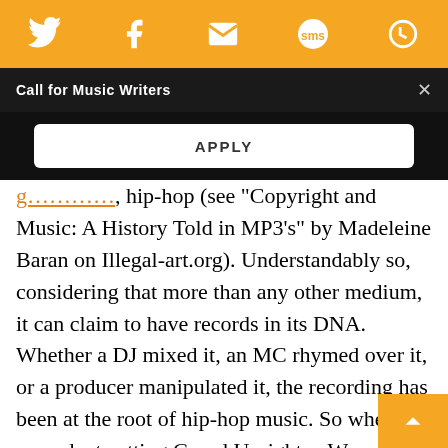[Figure (other): Orange social sharing bar with Twitter, Facebook, email, SMS, and another icon in white on orange background]
Call for Music Writers
APPLY
hip-hop (see “Copyright and Music: A History Told in MP3’s” by Madeleine Baran on Illegal-art.org). Understandably so, considering that more than any other medium, it can claim to have records in its DNA. Whether a DJ mixed it, an MC rhymed over it, or a producer manipulated it, the recording has been at the root of hip-hop music. So when the precedent-setting Grand Upright v. Warner case in 1991 deemed rapper Biz Markie’s use of ‘70s p star Gilbert O’Sullivan’s “Alone Again (Naturally)”